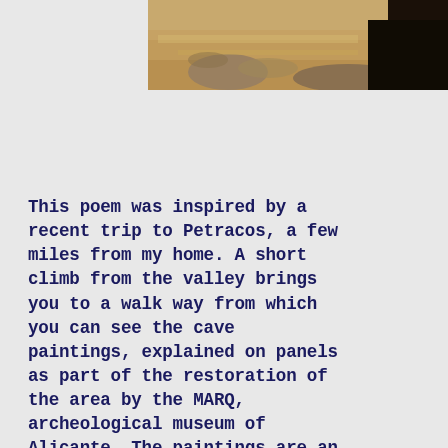[Figure (photo): Partial photograph showing an outdoor rocky/natural landscape scene, cropped at the top of the page.]
This poem was inspired by a recent trip to Petracos, a few miles from my home. A short climb from the valley brings you to a walk way from which you can see the cave paintings, explained on panels as part of the restoration of the area by the MARQ, archeological museum of Alicante. The paintings are an outstanding example of macro schematic art dating back 8,000 years and it is